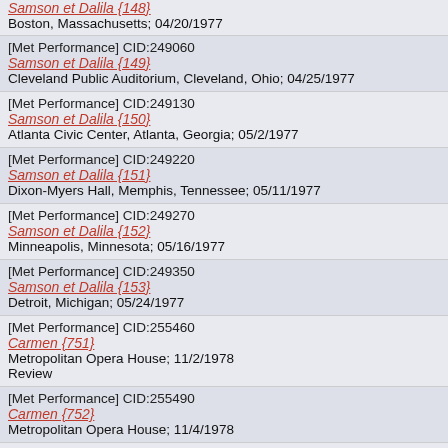[Met Performance] CID:249060
Samson et Dalila {149}
Cleveland Public Auditorium, Cleveland, Ohio; 04/25/1977
[Met Performance] CID:249130
Samson et Dalila {150}
Atlanta Civic Center, Atlanta, Georgia; 05/2/1977
[Met Performance] CID:249220
Samson et Dalila {151}
Dixon-Myers Hall, Memphis, Tennessee; 05/11/1977
[Met Performance] CID:249270
Samson et Dalila {152}
Minneapolis, Minnesota; 05/16/1977
[Met Performance] CID:249350
Samson et Dalila {153}
Detroit, Michigan; 05/24/1977
[Met Performance] CID:255460
Carmen {751}
Metropolitan Opera House; 11/2/1978
Review
[Met Performance] CID:255490
Carmen {752}
Metropolitan Opera House; 11/4/1978
[Met Performance] CID:255510
Carmen {753}
Metropolitan Opera House; 11/7/1978
Review